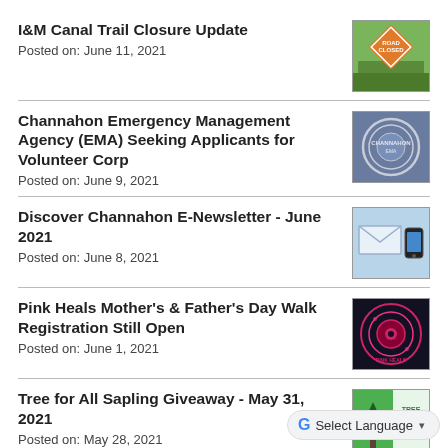I&M Canal Trail Closure Update
Posted on: June 11, 2021
[Figure (photo): Orange construction warning sign with trees in background]
Channahon Emergency Management Agency (EMA) Seeking Applicants for Volunteer Corp
Posted on: June 9, 2021
[Figure (logo): Channahon EMA circular seal/logo on gray background]
Discover Channahon E-Newsletter - June 2021
Posted on: June 8, 2021
[Figure (photo): Newsletter envelope and phone on light blue background]
Pink Heals Mother's & Father's Day Walk Registration Still Open
Posted on: June 1, 2021
[Figure (logo): Pink Heals circular logo on dark background]
Tree for All Sapling Giveaway - May 31, 2021
Posted on: May 28, 2021
[Figure (photo): Tree for All logo with green background]